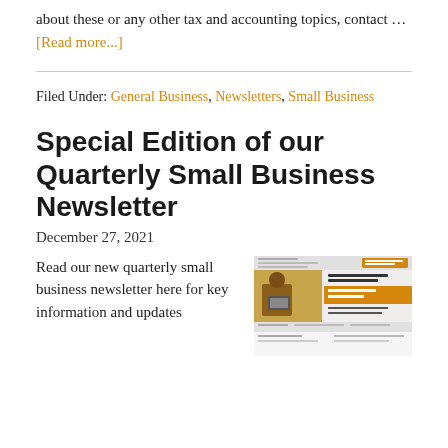about these or any other tax and accounting topics, contact … [Read more...]
Filed Under: General Business, Newsletters, Small Business
Special Edition of our Quarterly Small Business Newsletter
December 27, 2021
Read our new quarterly small business newsletter here for key information and updates
[Figure (screenshot): Thumbnail image of the quarterly small business newsletter showing a newsletter layout with a photo of a person working and text content.]